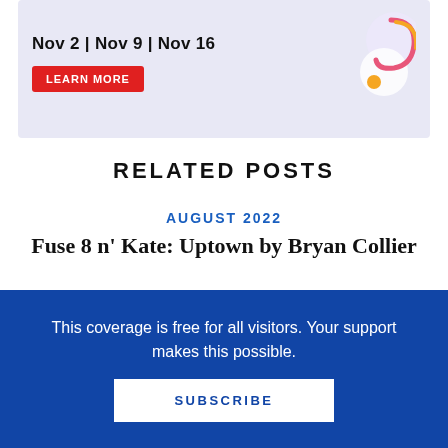[Figure (infographic): Banner advertisement with lavender background showing dates Nov 2 | Nov 9 | Nov 16 and a red LEARN MORE button, with decorative graphic on the right]
RELATED POSTS
AUGUST 2022
Fuse 8 n' Kate: Uptown by Bryan Collier
by Betsy Bird
AUGUST 2022
Fuse 8 n' Kate: Bea & Mr. Jones by Amy
This coverage is free for all visitors. Your support makes this possible.
SUBSCRIBE